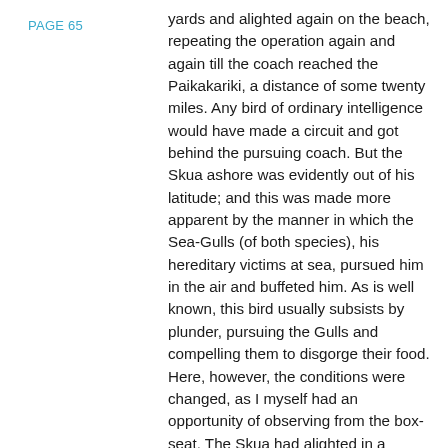PAGE 65
yards and alighted again on the beach, repeating the operation again and again till the coach reached the Paikakariki, a distance of some twenty miles. Any bird of ordinary intelligence would have made a circuit and got behind the pursuing coach. But the Skua ashore was evidently out of his latitude; and this was made more apparent by the manner in which the Sea-Gulls (of both species), his hereditary victims at sea, pursued him in the air and buffeted him. As is well known, this bird usually subsists by plunder, pursuing the Gulls and compelling them to disgorge their food. Here, however, the conditions were changed, as I myself had an opportunity of observing from the box-seat. The Skua had alighted in a shallow beach-stream and was ducking its body in